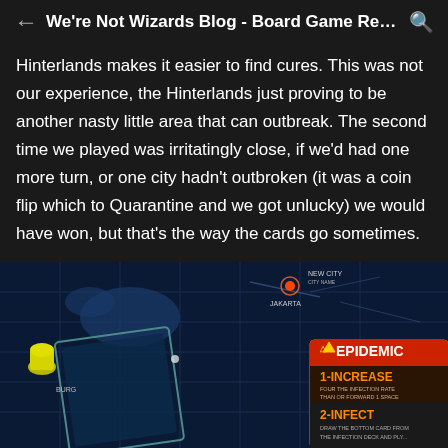We're Not Wizards Blog - Board Game Revi...
Hinterlands makes it easier to find cures. This was not our experience, the Hinterlands just proving to be another nasty little area that can outbreak. The second time we played was irritatingly close, if we'd had one more turn, or one city hadn't outbroken (it was a coin flip which to Quarantine and we got unlucky) we would have won, but that's the way the cards go sometimes.
[Figure (photo): A photo of the Pandemic board game showing the game board with city connections, an EPIDEMIC card visible with text '1-INCREASE FOUR THE INFECTION RATE THAN OR FORWARD 1 SPACE' and '2-INFECT DRAW THE BOTTOM CARD FROM THE INFECTION DECK AND PLY...' A yellow meeple/pawn is visible on the left side of the board.]